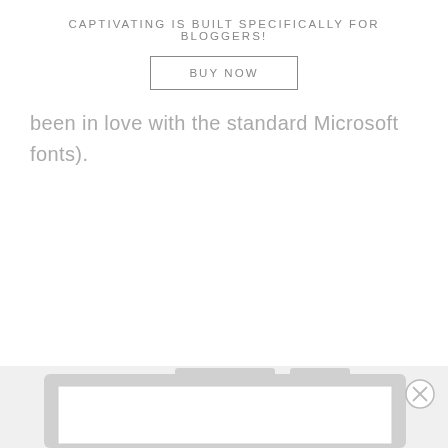CAPTIVATING IS BUILT SPECIFICALLY FOR BLOGGERS!
BUY NOW
been in love with the standard Microsoft fonts).
[Figure (screenshot): Bottom portion of a laptop/tablet screenshot partially visible, with a close (X) button in the lower right corner.]